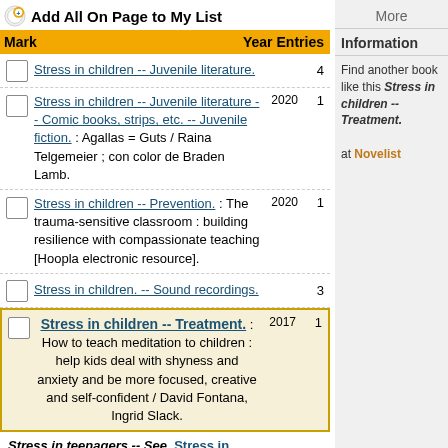Add All On Page to My List
| Mark | Year | Entries |
| --- | --- | --- |
| Stress in children -- Juvenile literature. |  | 4 |
| Stress in children -- Juvenile literature -- Comic books, strips, etc. -- Juvenile fiction. : Agallas = Guts / Raina Telgemeier ; con color de Braden Lamb. | 2020 | 1 |
| Stress in children -- Prevention. : The trauma-sensitive classroom : building resilience with compassionate teaching [Hoopla electronic resource]. | 2020 | 1 |
| Stress in children. -- Sound recordings. |  | 3 |
| Stress in children -- Treatment. : How to teach meditation to children : help kids deal with shyness and anxiety and be more focused, creative and self-confident / David Fontana, Ingrid Slack. | 2017 | 1 |
| Stress in teenagers -- See Stress in adolescence |  | 1 |
| Stress in the workplace -- See Job stress |  | 1 |
| --subdivision Job stress under classes of persons and ethnic groups; and subdivision Officials and employees--Job stress under names of countries, cities, etc. and names of individual government agencies |  |  |
Find another book like this Stress in children -- Treatment. at Novelist